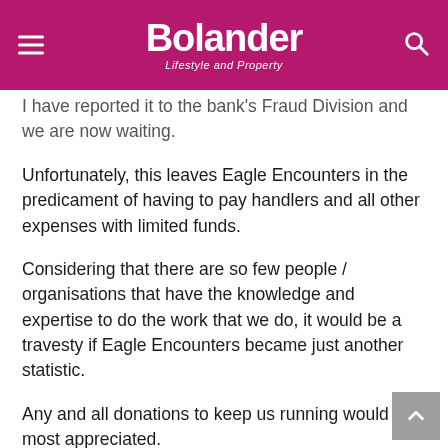Bolander — Lifestyle and Property
I have reported it to the bank's Fraud Division and we are now waiting.
Unfortunately, this leaves Eagle Encounters in the predicament of having to pay handlers and all other expenses with limited funds.
Considering that there are so few people / organisations that have the knowledge and expertise to do the work that we do, it would be a travesty if Eagle Encounters became just another statistic.
Any and all donations to keep us running would be most appreciated.
Please contact us for bank details or more information at 084